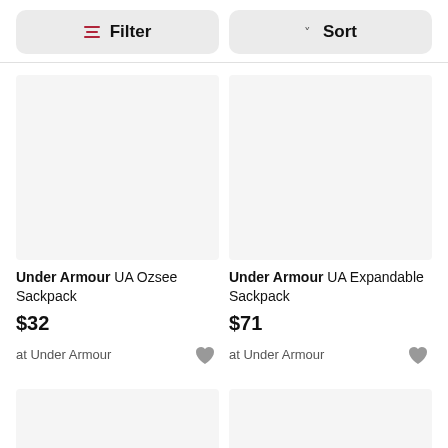[Figure (screenshot): Filter button with filter icon]
[Figure (screenshot): Sort button with caret icon]
[Figure (photo): Product image placeholder for Under Armour UA Ozsee Sackpack]
Under Armour UA Ozsee Sackpack
$32
at Under Armour
[Figure (photo): Product image placeholder for Under Armour UA Expandable Sackpack]
Under Armour UA Expandable Sackpack
$71
at Under Armour